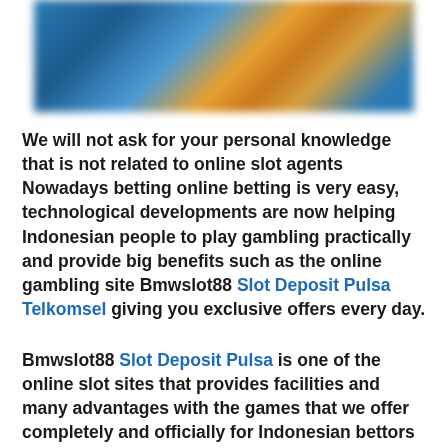[Figure (photo): A blurred decorative banner image with blue, orange, and gold colors, likely a slot game graphic.]
We will not ask for your personal knowledge that is not related to online slot agents Nowadays betting online betting is very easy, technological developments are now helping Indonesian people to play gambling practically and provide big benefits such as the online gambling site Bmwslot88 Slot Deposit Pulsa Telkomsel giving you exclusive offers every day.
Bmwslot88 Slot Deposit Pulsa is one of the online slot sites that provides facilities and many advantages with the games that we offer completely and officially for Indonesian bettors to